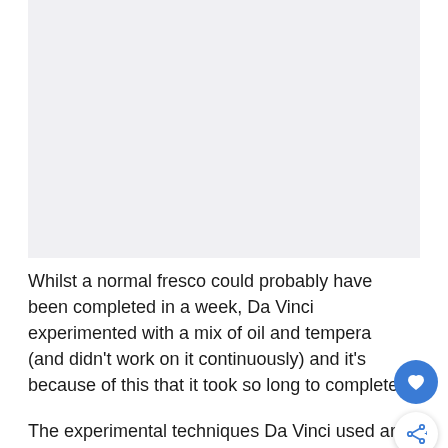[Figure (photo): Large light gray image placeholder area at the top of the page]
Whilst a normal fresco could probably have been completed in a week, Da Vinci experimented with a mix of oil and tempera (and didn't work on it continuously) and it's because of this that it took so long to complete.
The experimental techniques Da Vinci used are